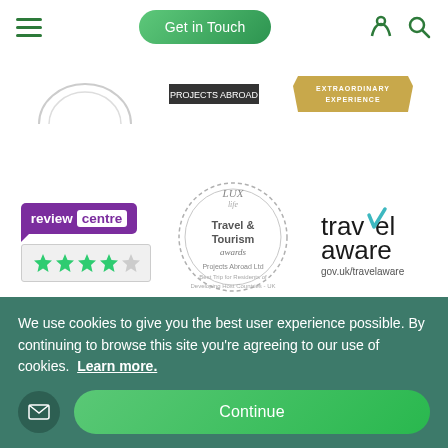Get in Touch
[Figure (logo): Review Centre logo with purple speech bubble and star rating]
[Figure (logo): LUXlife Travel & Tourism Awards logo - Projects Abroad Ltd]
[Figure (logo): travel aware gov.uk/travelaware logo]
[Figure (logo): Partial circular blue badge logo at bottom left]
[Figure (logo): Partial orange/red sunburst logo at bottom center]
We use cookies to give you the best user experience possible. By continuing to browse this site you’re agreeing to our use of cookies. Learn more.
Continue